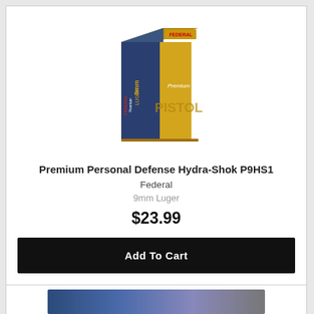[Figure (photo): Federal Premium Personal Defense Hydra-Shok P9HS1 ammunition box — yellow and dark blue box with 'FEDERAL', '9mm Luger', 'Premium', 'PISTOL' text on it]
Premium Personal Defense Hydra-Shok P9HS1
Federal
9mm Luger
$23.99
Add To Cart
[Figure (photo): Partially visible product image at the bottom of the page, cut off]